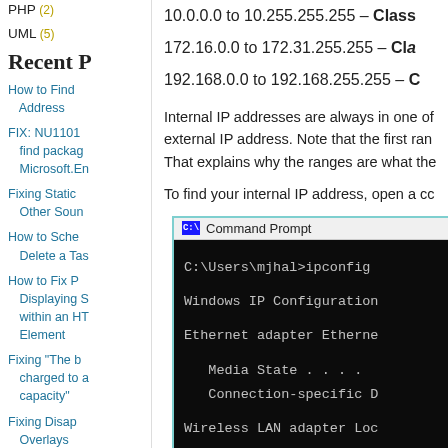PHP (2)
UML (5)
Recent P
How to Find Address
FIX: NU1101 find package Microsoft.En
Fixing Static Other Soun
How to Sche Delete a Tas
How to Fix P Displaying S within an HT Element
Fixing "The b charged to a capacity"
Fixing Disap Overlays
Creating Mul Delegates in
Using C# De Static and In
10.0.0.0 to 10.255.255.255 – Class
172.16.0.0 to 172.31.255.255 – Cla
192.168.0.0 to 192.168.255.255 – C
Internal IP addresses are always in one of external IP address. Note that the first ran That explains why the ranges are what the
To find your internal IP address, open a cc
[Figure (screenshot): Command Prompt window showing ipconfig output with C:\Users\mjhal>ipconfig, Windows IP Configuration, Ethernet adapter Ethernet, Media State, Connection-specific D, Wireless LAN adapter Loc]